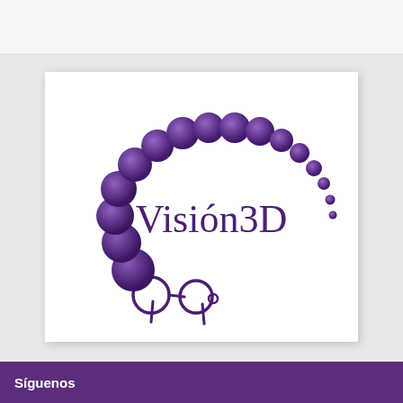[Figure (logo): Vision3D logo: purple glossy beads arranged in a C/arc shape with eyeglasses at the bottom, and the text 'Visión3D' in purple serif font]
Síguenos